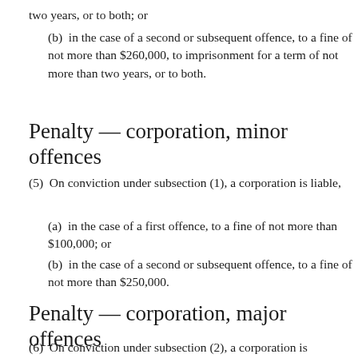two years, or to both; or
(b)  in the case of a second or subsequent offence, to a fine of not more than $260,000, to imprisonment for a term of not more than two years, or to both.
Penalty — corporation, minor offences
(5)  On conviction under subsection (1), a corporation is liable,
(a)  in the case of a first offence, to a fine of not more than $100,000; or
(b)  in the case of a second or subsequent offence, to a fine of not more than $250,000.
Penalty — corporation, major offences
(6)  On conviction under subsection (2), a corporation is